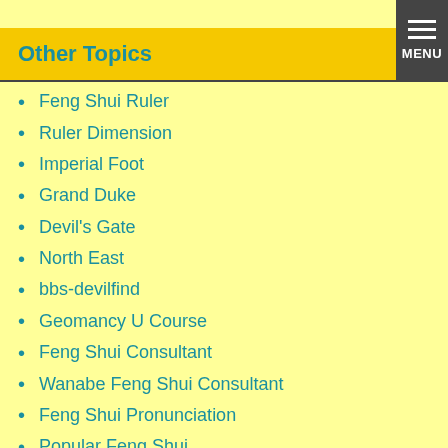Other Topics
Feng Shui Ruler
Ruler Dimension
Imperial Foot
Grand Duke
Devil's Gate
North East
bbs-devilfind
Geomancy U Course
Feng Shui Consultant
Wanabe Feng Shui Consultant
Feng Shui Pronunciation
Popular Feng Shui
Yin & Yang Ring
Feng Shui on Caravan
Mole on Palm